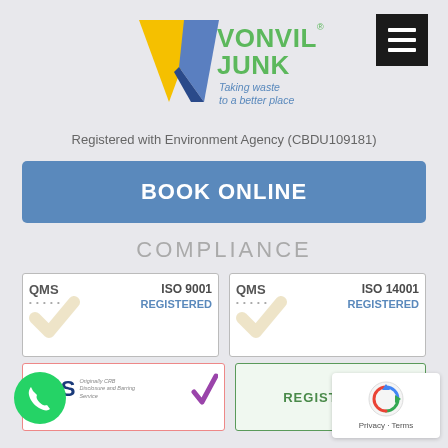[Figure (logo): Vonvil Junk logo with yellow and blue geometric shapes and green text reading VONVIL JUNK with tagline Taking waste to a better place]
Registered with Environment Agency (CBDU109181)
BOOK ONLINE
COMPLIANCE
[Figure (other): QMS ISO 9001 REGISTERED certification badge with gold checkmark]
[Figure (other): QMS ISO 14001 REGISTERED certification badge with gold checkmark]
[Figure (other): DBS (Originally CRB Disclosure and Barring Service) badge with purple checkmark]
[Figure (other): Green REGISTERED badge]